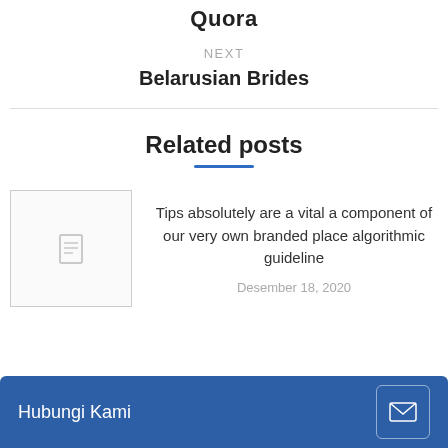Quora
NEXT
Belarusian Brides
Related posts
[Figure (illustration): Placeholder image thumbnail with document icon]
Tips absolutely are a vital a component of our very own branded place algorithmic guideline
Desember 18, 2020
Hubungi Kami